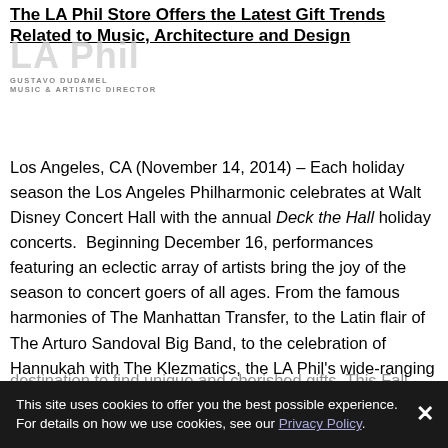The LA Phil Store Offers the Latest Gift Trends Related to Music, Architecture and Design
[Figure (logo): LA Phil logo with text 'LA Phil' in large grey letters, 'GUSTAVO DUDAMEL' and 'MUSIC & ARTISTIC DIRECTOR' below]
Los Angeles, CA (November 14, 2014) – Each holiday season the Los Angeles Philharmonic celebrates at Walt Disney Concert Hall with the annual Deck the Hall holiday concerts.  Beginning December 16, performances featuring an eclectic array of artists bring the joy of the season to concert goers of all ages. From the famous harmonies of The Manhattan Transfer, to the Latin flair of The Arturo Sandoval Big Band, to the celebration of Hannukah with The Klezmatics, the LA Phil's wide-ranging programming provides something for everyone during this special time of year.
In addition to the holiday sights and sounds happening on
destination to find unique and cherished gifts. This Fall,
This site uses cookies to offer you the best possible experience. For details on how we use cookies, see our Privacy Policy.